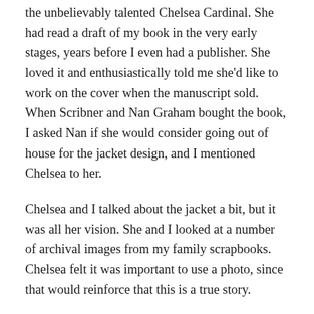the unbelievably talented Chelsea Cardinal. She had read a draft of my book in the very early stages, years before I even had a publisher. She loved it and enthusiastically told me she'd like to work on the cover when the manuscript sold. When Scribner and Nan Graham bought the book, I asked Nan if she would consider going out of house for the jacket design, and I mentioned Chelsea to her.
Chelsea and I talked about the jacket a bit, but it was all her vision. She and I looked at a number of archival images from my family scrapbooks. Chelsea felt it was important to use a photo, since that would reinforce that this is a true story.
Chelsea created five or so versions of the jacket, each involving treatments incorporating different photos she culled from my father's scrapbooks. The photo you see on